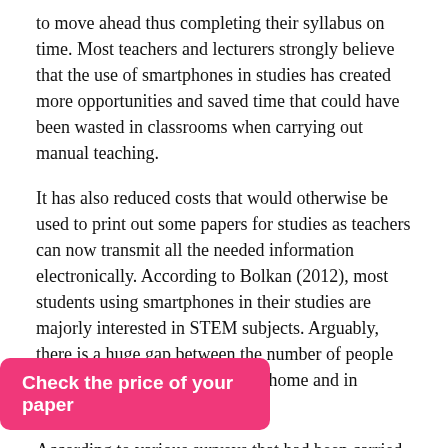to move ahead thus completing their syllabus on time. Most teachers and lecturers strongly believe that the use of smartphones in studies has created more opportunities and saved time that could have been wasted in classrooms when carrying out manual teaching.
It has also reduced costs that would otherwise be used to print out some papers for studies as teachers can now transmit all the needed information electronically. According to Bolkan (2012), most students using smartphones in their studies are majorly interested in STEM subjects. Arguably, there is a huge gap between the number of people using their smartphones back at home and in school.
According to various surveys that had been carried out, the number of students ... their smartphones
Check the price of your paper